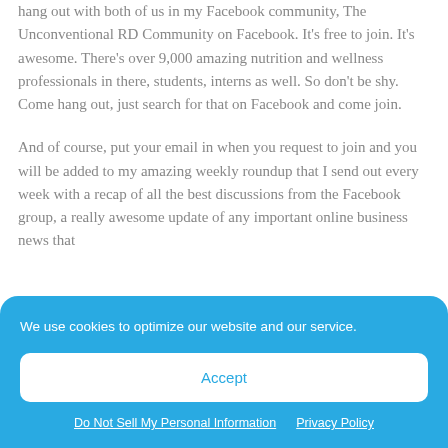hang out with both of us in my Facebook community, The Unconventional RD Community on Facebook. It's free to join. It's awesome. There's over 9,000 amazing nutrition and wellness professionals in there, students, interns as well. So don't be shy. Come hang out, just search for that on Facebook and come join.
And of course, put your email in when you request to join and you will be added to my amazing weekly roundup that I send out every week with a recap of all the best discussions from the Facebook group, a really awesome update of any important online business news that
We use cookies to optimize our website and our service.
Accept
Do Not Sell My Personal Information   Privacy Policy